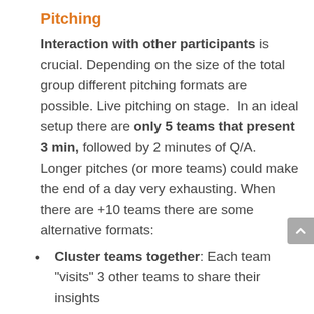Pitching
Interaction with other participants is crucial. Depending on the size of the total group different pitching formats are possible. Live pitching on stage. In an ideal setup there are only 5 teams that present 3 min, followed by 2 minutes of Q/A. Longer pitches (or more teams) could make the end of a day very exhausting. When there are +10 teams there are some alternative formats:
Cluster teams together: Each team “visits” 3 other teams to share their insights
Informal pitching: open question to the crowd so some voluntary teams present a summary of their idea